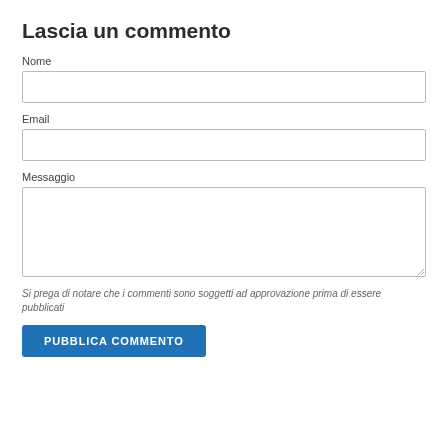Lascia un commento
Nome
Email
Messaggio
Si prega di notare che i commenti sono soggetti ad approvazione prima di essere pubblicati
PUBBLICA COMMENTO